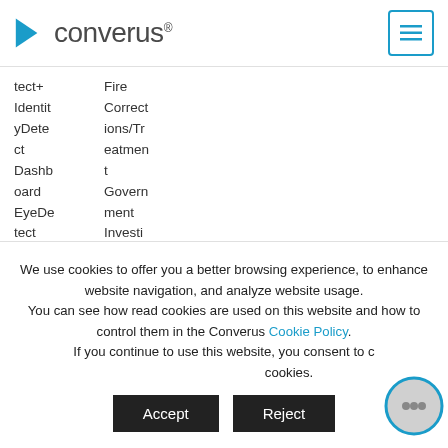converus
tect+
IdentityDetect
Dashboard
EyeDetect
FAQs
Fire
Corrections/Treatment
Government
Investigations
Polygraph Examin
We use cookies to offer you a better browsing experience, to enhance website navigation, and analyze website usage. You can see how read cookies are used on this website and how to control them in the Converus Cookie Policy. If you continue to use this website, you consent to our cookies.